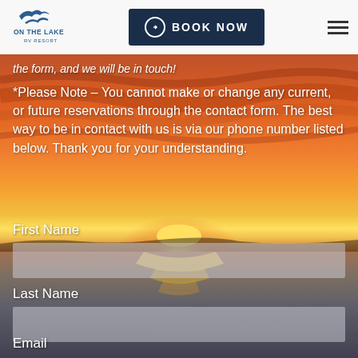[Figure (logo): On The Lake RV Resort logo with wave/bird graphic and text]
[Figure (photo): Sunset over a lake background image with orange and red sky]
the form, and we will be in touch!
*Please Note – You cannot make or change any current, or future reservations through the contact form. The best way to be in contact with us is via our phone number listed below. Thank you for your understanding.
First Name
Last Name
Email